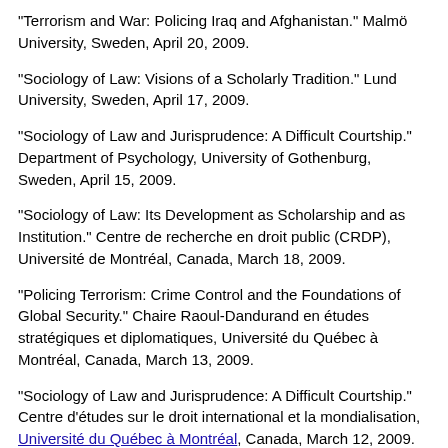"Terrorism and War: Policing Iraq and Afghanistan." Malmö University, Sweden, April 20, 2009.
"Sociology of Law: Visions of a Scholarly Tradition." Lund University, Sweden, April 17, 2009.
"Sociology of Law and Jurisprudence: A Difficult Courtship." Department of Psychology, University of Gothenburg, Sweden, April 15, 2009.
"Sociology of Law: Its Development as Scholarship and as Institution." Centre de recherche en droit public (CRDP), Université de Montréal, Canada, March 18, 2009.
"Policing Terrorism: Crime Control and the Foundations of Global Security." Chaire Raoul-Dandurand en études stratégiques et diplomatiques, Université du Québec à Montréal, Canada, March 13, 2009.
"Sociology of Law and Jurisprudence: A Difficult Courtship." Centre d'études sur le droit international et la mondialisation, Université du Québec à Montréal, Canada, March 12, 2009.